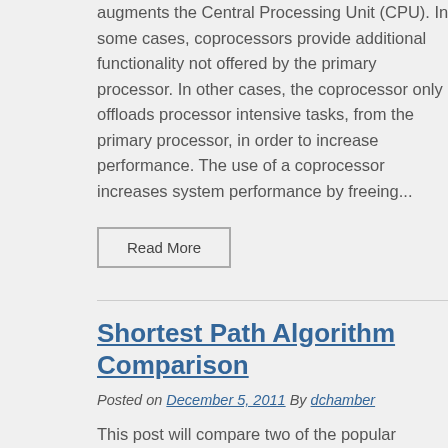augments the Central Processing Unit (CPU). In some cases, coprocessors provide additional functionality not offered by the primary processor. In other cases, the coprocessor only offloads processor intensive tasks, from the primary processor, in order to increase performance. The use of a coprocessor increases system performance by freeing...
Read More
Shortest Path Algorithm Comparison
Posted on December 5, 2011 By dchamber
This post will compare two of the popular algorithms used to attack this shortest-path